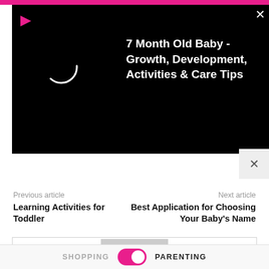[Figure (screenshot): Pink top navigation bar of a parenting website]
[Figure (screenshot): Black video player panel showing a loading spinner circle and a video title. A red play icon is in the top left and a close X in the top right. Title reads: 7 Month Old Baby - Growth, Development, Activities & Care Tips]
[Figure (screenshot): Close button (X) in a light gray box below the video panel]
Previous article
Next article
Learning Activities for Toddler
Best Application for Choosing Your Baby's Name
[Figure (illustration): Author placeholder avatar: gray square with a white silhouette of a person (head and shoulders)]
SHOPPING
PARENTING